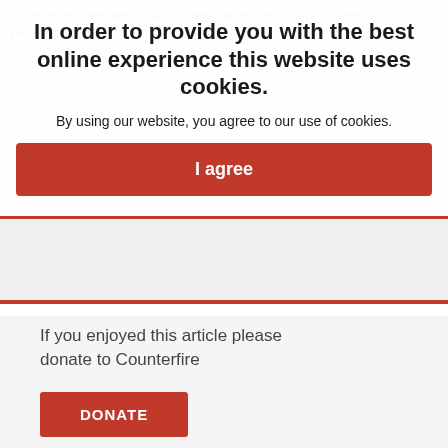austerity, endless war, and climate disaster, as Justin Trudeau puts a 'progressive' face on
In order to provide you with the best online experience this website uses cookies.
By using our website, you agree to our use of cookies.
I agree
If you enjoyed this article please
donate to Counterfire
DONATE
RELATED ARTICLES
[Figure (illustration): Pink/red square thumbnail with a large pound sign (£) and a line chart going down, representing Basic Income article]
Basic Income: progressive cloak and neoliberal dagger
[Figure (photo): Partial thumbnail image for a second related article, partially visible at bottom of page]